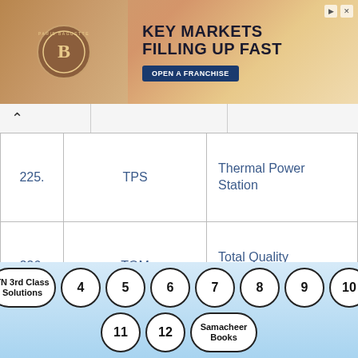[Figure (photo): Advertisement banner for Paris Baguette Bakery & Cafe franchise with text 'KEY MARKETS FILLING UP FAST' and 'OPEN A FRANCHISE' button]
| # | Abbreviation | Full Form |
| --- | --- | --- |
| 225. | TPS | Thermal Power Station |
| 226. | TQM | Total Quality Management |
| 227. | TT(E)I | Traveling Ticket Examiner/ Inspector |
| 228. | TTTI | Technical Teachers |
TN 3rd Class Solutions  4  5  6  7  8  9  10  11  12  Samacheer Books